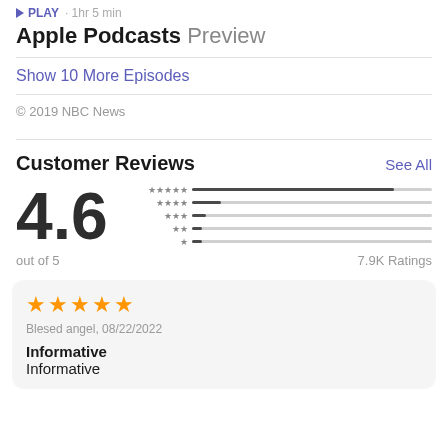PLAY · 1hr 5 min
Apple Podcasts Preview
Show 10 More Episodes
© 2019 NBC News
Customer Reviews
[Figure (infographic): Rating summary: 4.6 out of 5 with star distribution bars and 7.9K Ratings total]
Blesed angel, 08/22/2022
Informative
Informative